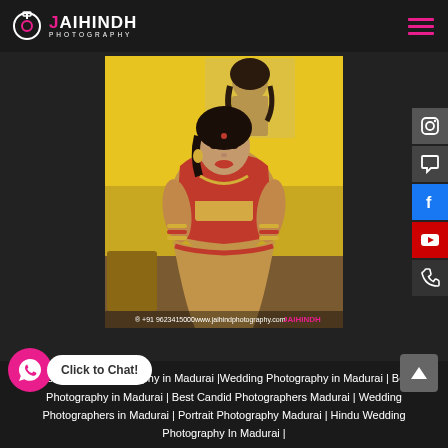JAIHINDH PHOTOGRAPHY
[Figure (photo): Bride in red and gold lehenga standing in front of a yellow wall with a fashion poster in the background, Jaihindh Photography watermark at the bottom]
Best Candid Photography in Madurai |Wedding Photography in Madurai | Best Photography in Madurai | Best Candid Photographers Madurai | Wedding Photographers in Madurai | Portrait Photography Madurai | Hindu Wedding Photography In Madurai |